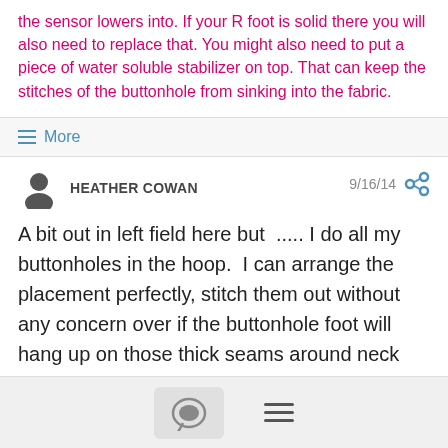the sensor lowers into. If your R foot is solid there you will also need to replace that. You might also need to put a piece of water soluble stabilizer on top. That can keep the stitches of the buttonhole from sinking into the fabric.
≡ More
HEATHER COWAN
9/16/14
A bit out in left field here but  ..... I do all my buttonholes in the hoop.  I can arrange the placement perfectly, stitch them out without any concern over if the buttonhole foot will hang up on those thick seams around neck facings, and it doesn't matter if the fabric is sheer or bulky ..... even works on velour and leather ......  I